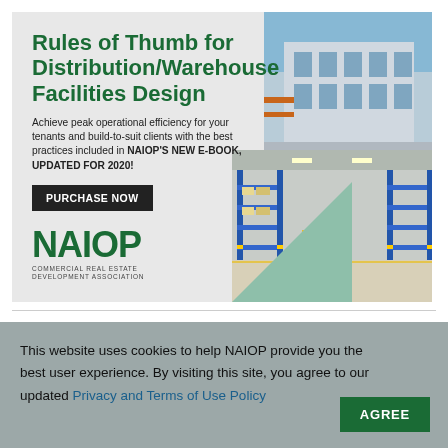[Figure (illustration): NAIOP advertisement banner for 'Rules of Thumb for Distribution/Warehouse Facilities Design' e-book. Left side has dark green title text, body copy, a black 'PURCHASE NOW' button, and the NAIOP logo. Right side shows a photo collage of a modern warehouse building exterior and warehouse interior with forklifts and shelving.]
This website uses cookies to help NAIOP provide you the best user experience. By visiting this site, you agree to our updated Privacy and Terms of Use Policy